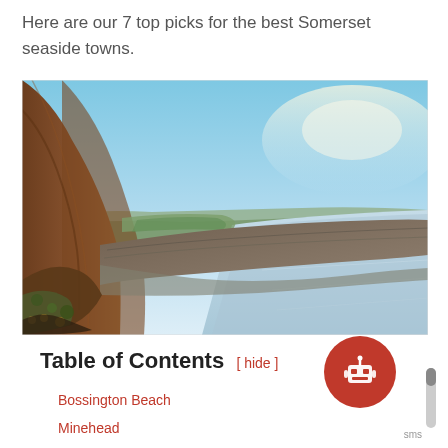Here are our 7 top picks for the best Somerset seaside towns.
[Figure (photo): Aerial/elevated view of a long curved pebble beach stretching into the distance, with a hillside covered in brown heather on the left, green fields beyond the beach, calm sea water on the right, and a clear blue sky. Somerset seaside coast.]
Table of Contents  [ hide ]
Bossington Beach
Minehead